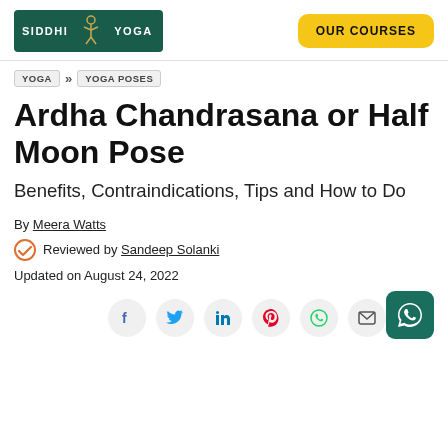[Figure (logo): Siddhi Yoga logo with green background and yoga figure icon]
[Figure (other): OUR COURSES yellow button]
YOGA >> YOGA POSES
Ardha Chandrasana or Half Moon Pose
Benefits, Contraindications, Tips and How to Do
By Meera Watts
Reviewed by Sandeep Solanki
Updated on August 24, 2022
[Figure (other): Social share buttons: Facebook, Twitter, LinkedIn, Pinterest, WhatsApp, Email, and floating WhatsApp chat button]